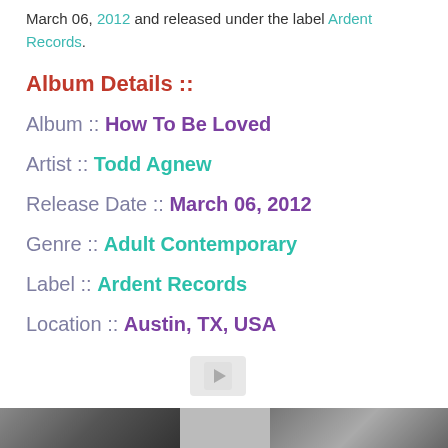March 06, 2012 and released under the label Ardent Records.
Album Details ::
Album :: How To Be Loved
Artist :: Todd Agnew
Release Date :: March 06, 2012
Genre :: Adult Contemporary
Label :: Ardent Records
Location :: Austin, TX, USA
[Figure (photo): Three thumbnail images at the bottom of the page]